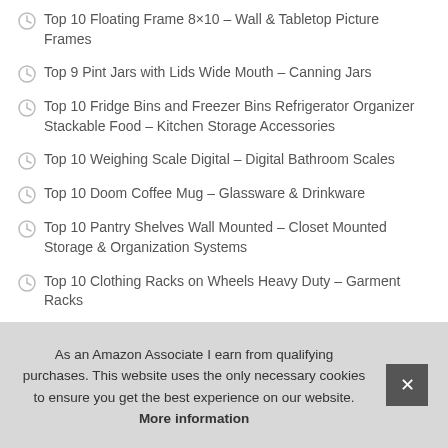Top 10 Floating Frame 8×10 – Wall & Tabletop Picture Frames
Top 9 Pint Jars with Lids Wide Mouth – Canning Jars
Top 10 Fridge Bins and Freezer Bins Refrigerator Organizer Stackable Food – Kitchen Storage Accessories
Top 10 Weighing Scale Digital – Digital Bathroom Scales
Top 10 Doom Coffee Mug – Glassware & Drinkware
Top 10 Pantry Shelves Wall Mounted – Closet Mounted Storage & Organization Systems
Top 10 Clothing Racks on Wheels Heavy Duty – Garment Racks
T…
As an Amazon Associate I earn from qualifying purchases. This website uses the only necessary cookies to ensure you get the best experience on our website. More information